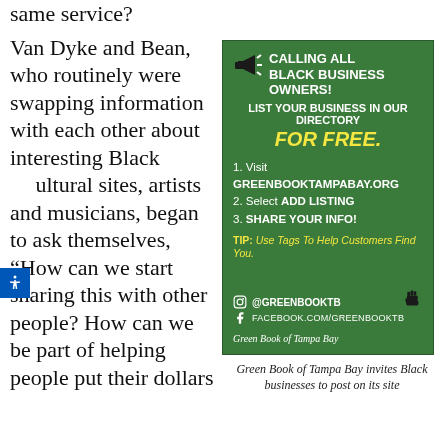same service?
Van Dyke and Bean, who routinely were swapping information with each other about interesting Black cultural sites, artists and musicians, began to ask themselves, “How can we start sharing this with other people? How can we be part of helping people put their dollars
[Figure (infographic): Green background advertisement. Heading: CALLING ALL BLACK BUSINESS OWNERS! Subheading: LIST YOUR BUSINESS IN OUR DIRECTORY FOR FREE. Steps: 1. Visit GREENBOOKTAMPABAY.ORG 2. Select ADD LISTING 3. Share Your Info! TIP: Use Tags To Help Customers Find You. Social: @GREENBOOKTB (Instagram), FACEBOOK.COM/GREENBOOKTB. Branding: Green Book of Tampa Bay. Raised fist graphic in bottom right corner.]
Green Book of Tampa Bay invites Black businesses to post on its site